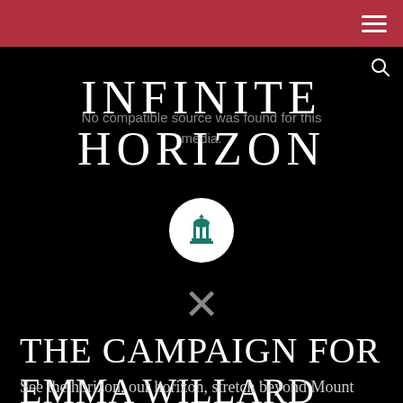Navigation bar with hamburger menu
INFINITE HORIZON
No compatible source was found for this media.
[Figure (logo): Emma Willard School circular logo with green lantern/building icon on white circle background]
X
THE CAMPAIGN FOR EMMA WILLARD SCHOOL
See the horizon, our horizon, stretch beyond Mount